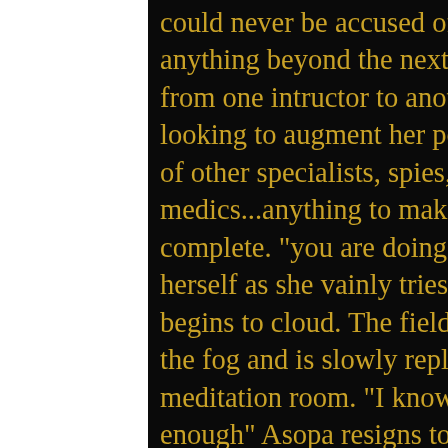could never be accused of being focused on anything beyond the next experience. She hopped from one intructor to another in the academy always looking to augment her position with the knowledge of other specialists, spies, smugglers, medics...anything to make herself feel more complete. "you are doing it again!" Asopa scolds herself as she vainly tries to keep focus the vision begins to cloud. The fields continue to recede into the fog and is slowly replaced with her own meditation room. "I know...I know... not good enough" Asopa resigns to the glaring portait of Lord Vader as she returns to her feet.
"mistress, you will want to see this" a voice offers from the doorway. A tall pale blue Twi'lek stands just within the doorway noticably disturbed. Asopa has always been outwardly kind to Zis'is despite a sibling like jealously of her tall slender figure and beatuiful features the men always seemed